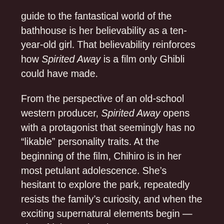guide to the fantastical world of the bathhouse is her believability as a ten-year-old girl. That believability reinforces how Spirited Away is a film only Ghibli could have made.
From the perspective of an old-school western producer, Spirited Away opens with a protagonist that seemingly has no “likable” personality traits. At the beginning of the film, Chihiro is in her most petulant adolescence. She’s hesitant to explore the park, repeatedly resists the family’s curiosity, and when the exciting supernatural elements begin — she’s frightened and runs away. A producer obsessed with audience testing scores might be concerned the audience would not root for a little kid who complains and cries all the time.